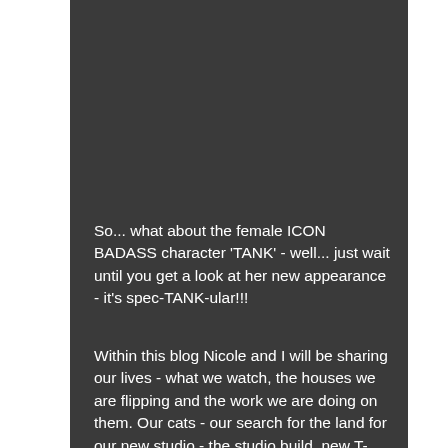So... what about the female ICON BADASS character 'TANK' - well... just wait until you get a look at her new appearance - it's spec-TANK-ular!!!
Within this blog Nicole and I will be sharing our lives - what we watch, the houses we are flipping and the work we are doing on them. Our cats - our search for the land for our new studio - the studio build, new T-Shirts, BluRays -